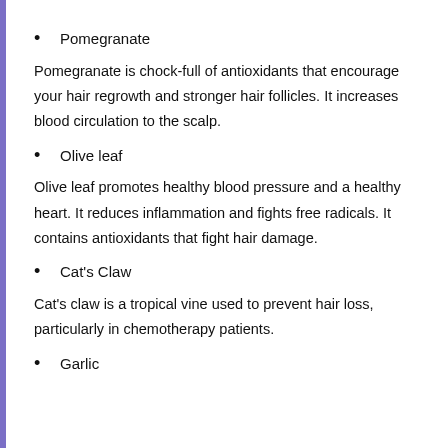Pomegranate
Pomegranate is chock-full of antioxidants that encourage your hair regrowth and stronger hair follicles. It increases blood circulation to the scalp.
Olive leaf
Olive leaf promotes healthy blood pressure and a healthy heart. It reduces inflammation and fights free radicals. It contains antioxidants that fight hair damage.
Cat's Claw
Cat's claw is a tropical vine used to prevent hair loss, particularly in chemotherapy patients.
Garlic